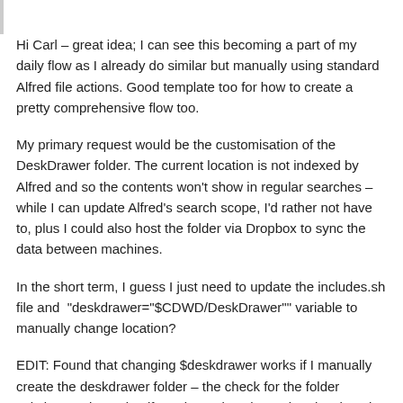Hi Carl – great idea; I can see this becoming a part of my daily flow as I already do similar but manually using standard Alfred file actions. Good template too for how to create a pretty comprehensive flow too.
My primary request would be the customisation of the DeskDrawer folder. The current location is not indexed by Alfred and so the contents won't show in regular searches – while I can update Alfred's search scope, I'd rather not have to, plus I could also host the folder via Dropbox to sync the data between machines.
In the short term, I guess I just need to update the includes.sh file and  "deskdrawer="$CDWD/DeskDrawer"" variable to manually change location?
EDIT: Found that changing $deskdrawer works if I manually create the deskdrawer folder – the check for the folder existing, and creating if not, it needs to be updated. Otherwise seems to work fine